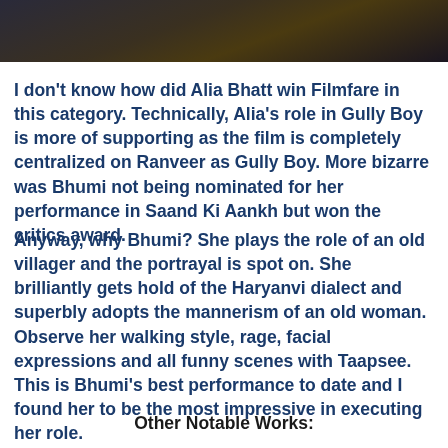[Figure (photo): Dark cinematic still from a movie, showing dim lighting with warm golden tones]
I don't know how did Alia Bhatt win Filmfare in this category. Technically, Alia's role in Gully Boy is more of supporting as the film is completely centralized on Ranveer as Gully Boy. More bizarre was Bhumi not being nominated for her performance in Saand Ki Aankh but won the critics award.
Anyway, why Bhumi? She plays the role of an old villager and the portrayal is spot on. She brilliantly gets hold of the Haryanvi dialect and superbly adopts the mannerism of an old woman. Observe her walking style, rage, facial expressions and all funny scenes with Taapsee. This is Bhumi's best performance to date and I found her to be the most impressive in executing her role.
Other Notable Works: